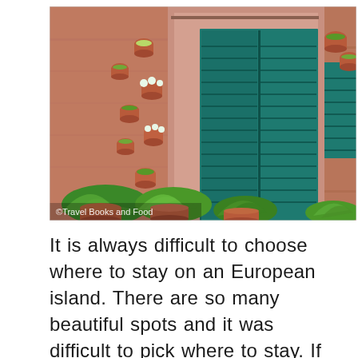[Figure (photo): A Mediterranean-style building facade with terracotta stone walls adorned with many terracotta flower pots containing green plants and white flowers. A large set of dark teal/green louvered shuttered double doors is in the center, and a green-shuttered window is visible on the right. Large tropical plants in terracotta pots sit at the base of the wall. A watermark reads '©Travel Books and Food' in the lower left corner.]
It is always difficult to choose where to stay on an European island. There are so many beautiful spots and it was difficult to pick where to stay. If you are looking for